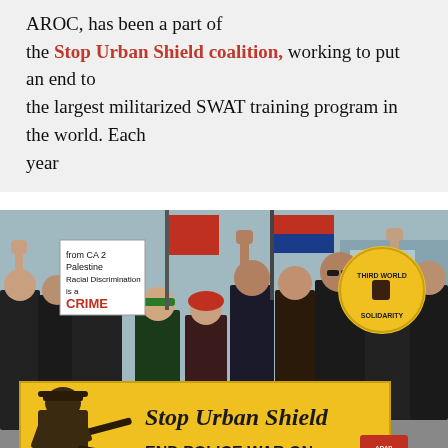AROC, has been a part of the Stop Urban Shield coalition, working to put an end to the largest militarized SWAT training program in the world. Each year
[Figure (photo): Protest photo showing a crowd of demonstrators holding a large yellow banner that reads 'Stop Urban Shield — END POLICE WAR ON OUR COMMUNITIES'. Protesters hold signs including one reading 'from CA 2 Palestine Racial Discrimination is a CRIME'. A yellow circular sign reads 'Third World Solidarity'. The scene appears to be an outdoor daytime protest.]